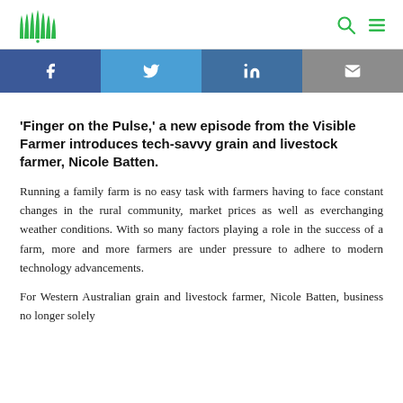Visible Farmer logo, search icon, menu icon
[Figure (infographic): Social share buttons: Facebook, Twitter, LinkedIn, Email]
'Finger on the Pulse,' a new episode from the Visible Farmer introduces tech-savvy grain and livestock farmer, Nicole Batten.
Running a family farm is no easy task with farmers having to face constant changes in the rural community, market prices as well as everchanging weather conditions. With so many factors playing a role in the success of a farm, more and more farmers are under pressure to adhere to modern technology advancements.
For Western Australian grain and livestock farmer, Nicole Batten, business no longer solely